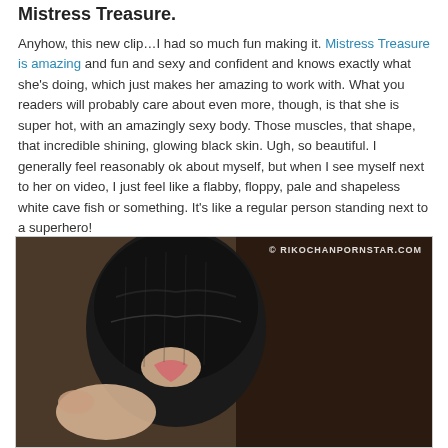Mistress Treasure.
Anyhow, this new clip…I had so much fun making it. Mistress Treasure is amazing and fun and sexy and confident and knows exactly what she's doing, which just makes her amazing to work with. What you readers will probably care about even more, though, is that she is super hot, with an amazingly sexy body. Those muscles, that shape, that incredible shining, glowing black skin. Ugh, so beautiful. I generally feel reasonably ok about myself, but when I see myself next to her on video, I just feel like a flabby, floppy, pale and shapeless white cave fish or something. It's like a regular person standing next to a superhero!
[Figure (photo): Photo with watermark © RIKOCHANPORNSTAR.COM showing a person in a black mask]